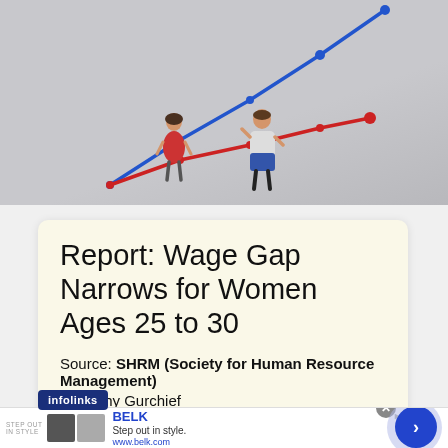[Figure (photo): Photo banner showing two miniature figurines (a woman in red on the left and a man in blue/white on the right) positioned against a grey background with two intersecting line chart lines overlaid — a blue rising line and a red rising line — suggesting wage gap data visualization.]
Report: Wage Gap Narrows for Women Ages 25 to 30
Source: SHRM (Society for Human Resource Management)
By Kathy Gurchief
[Figure (screenshot): Infolinks badge and Belk advertisement banner at bottom of page showing 'STEP OUT IN STYLE', 'BELK', 'Step out in style.', 'www.belk.com' with product images and a blue arrow button.]